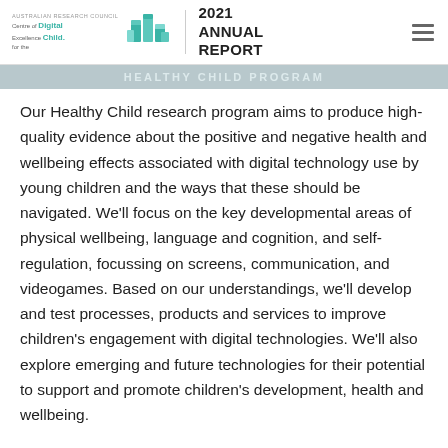AUSTRALIAN RESEARCH COUNCIL Centre of Excellence for the Digital Child. 2021 ANNUAL REPORT
HEALTHY CHILD PROGRAM
Our Healthy Child research program aims to produce high-quality evidence about the positive and negative health and wellbeing effects associated with digital technology use by young children and the ways that these should be navigated. We’ll focus on the key developmental areas of physical wellbeing, language and cognition, and self-regulation, focussing on screens, communication, and videogames. Based on our understandings, we’ll develop and test processes, products and services to improve children’s engagement with digital technologies. We’ll also explore emerging and future technologies for their potential to support and promote children’s development, health and wellbeing.